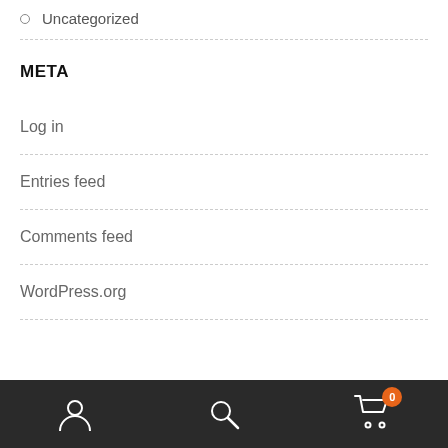Uncategorized
META
Log in
Entries feed
Comments feed
WordPress.org
[Figure (screenshot): Bottom navigation bar with user icon, search icon, and cart icon with orange badge showing 0]